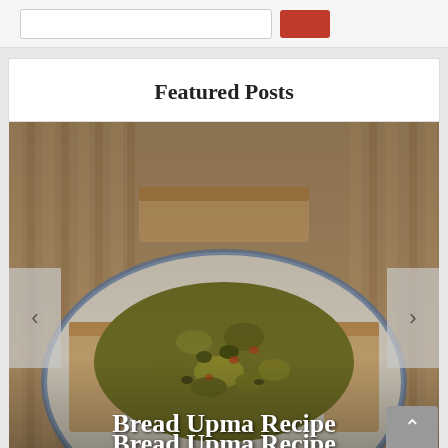Featured Posts
[Figure (photo): Photo of Bread Upma dish on a decorative plate with bread slices on the side, shown as a carousel slide with left and right navigation arrows]
Bread Upma Recipe
Free Email Subscription
Don't miss a single recipe. Subscribe to our free email